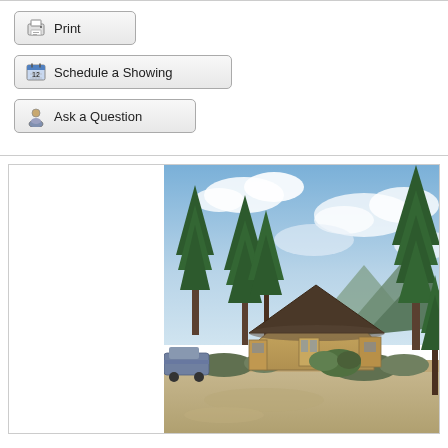[Figure (other): Print button with printer icon]
[Figure (other): Schedule a Showing button with calendar icon]
[Figure (other): Ask a Question button with person icon]
[Figure (photo): Photograph of a round/octagonal house with a dark conical roof surrounded by tall pine trees, mountains in background, partly cloudy sky, dirt/gravel driveway in front, vehicle visible on left side]